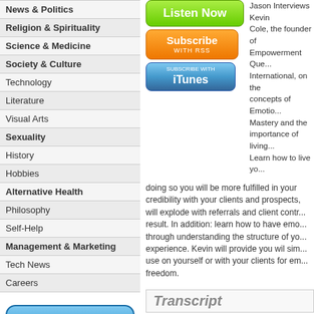News & Politics
Religion & Spirituality
Science & Medicine
Society & Culture
Technology
Literature
Visual Arts
Sexuality
History
Hobbies
Alternative Health
Philosophy
Self-Help
Management & Marketing
Tech News
Careers
[Figure (screenshot): Send this Page to a Friend button (blue gradient rounded rectangle)]
[Figure (screenshot): Listen Now (green), Subscribe with RSS (orange), Subscribe with iTunes (blue) buttons]
Jason Interviews Kevin Cole, the founder of Empowerment Quest International, on the concepts of Emotional Mastery and the importance of living... Learn how to live yo... doing so you will be more fulfilled in your... credibility with your clients and prospects,... will explode with referrals and client contr... result. In addition: learn how to have emo... through understanding the structure of yo... experience. Kevin will provide you wil sim... use on yourself or with your clients for em... freedom.
Transcript
Living your Purpose with Empowerment Quest In...
Transcript:
[Music]
Female: This program is brought to you b...
[Music in background]